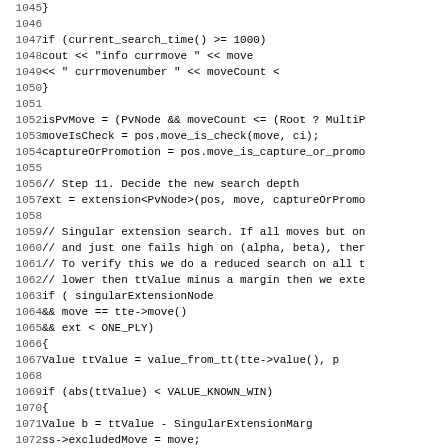[Figure (other): Source code listing in monospace font showing lines 1045-1076 of a C++ chess engine search function, with line numbers on the left and code on the right. Topics include current search time check, isPvMove, moveIsCheck, captureOrPromotion, step 11 new search depth, singular extension search logic, and associated variable assignments.]